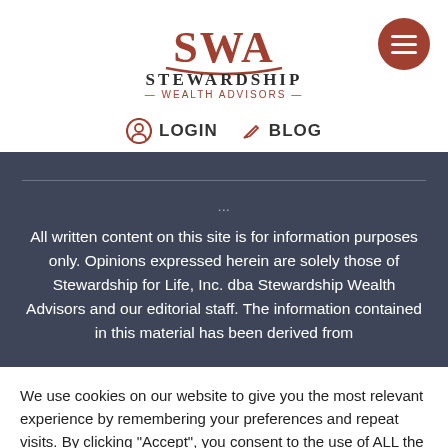[Figure (logo): SWA Stewardship Wealth Advisors logo with red/brown SWA letters and dark text]
LOGIN   BLOG
All written content on this site is for information purposes only. Opinions expressed herein are solely those of Stewardship for Life, Inc. dba Stewardship Wealth Advisors and our editorial staff. The information contained in this material has been derived from...
We use cookies on our website to give you the most relevant experience by remembering your preferences and repeat visits. By clicking “Accept”, you consent to the use of ALL the cookies.
Accept   Reject